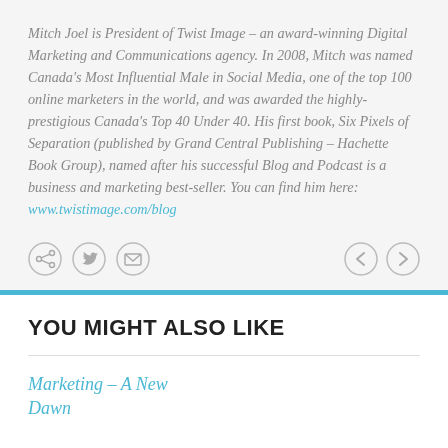Mitch Joel is President of Twist Image – an award-winning Digital Marketing and Communications agency. In 2008, Mitch was named Canada's Most Influential Male in Social Media, one of the top 100 online marketers in the world, and was awarded the highly-prestigious Canada's Top 40 Under 40. His first book, Six Pixels of Separation (published by Grand Central Publishing – Hachette Book Group), named after his successful Blog and Podcast is a business and marketing best-seller. You can find him here: www.twistimage.com/blog
[Figure (infographic): Social sharing icons (share, Twitter, email) on the left and navigation arrows (previous, next) on the right]
YOU MIGHT ALSO LIKE
Marketing – A New Dawn